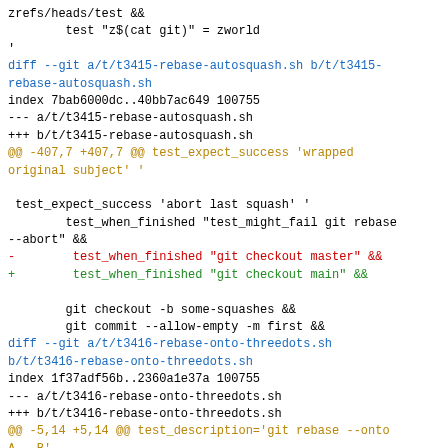zrefs/heads/test &&
        test "z$(cat git)" = zworld
'
diff --git a/t/t3415-rebase-autosquash.sh b/t/t3415-rebase-autosquash.sh
index 7bab6000dc..40bb7ac649 100755
--- a/t/t3415-rebase-autosquash.sh
+++ b/t/t3415-rebase-autosquash.sh
@@ -407,7 +407,7 @@ test_expect_success 'wrapped original subject' '

 test_expect_success 'abort last squash' '
         test_when_finished "test_might_fail git rebase --abort" &&
-        test_when_finished "git checkout master" &&
+        test_when_finished "git checkout main" &&

         git checkout -b some-squashes &&
         git commit --allow-empty -m first &&
diff --git a/t/t3416-rebase-onto-threedots.sh b/t/t3416-rebase-onto-threedots.sh
index 1f37adf56b..2360a1e37a 100755
--- a/t/t3416-rebase-onto-threedots.sh
+++ b/t/t3416-rebase-onto-threedots.sh
@@ -5,14 +5,14 @@ test_description='git rebase --onto A...B'
 . ./test-lib.sh
 . "$TEST_DIRECTORY/lib-rebase.sh"

-# Rebase only the tip commit of "topic" on merge base